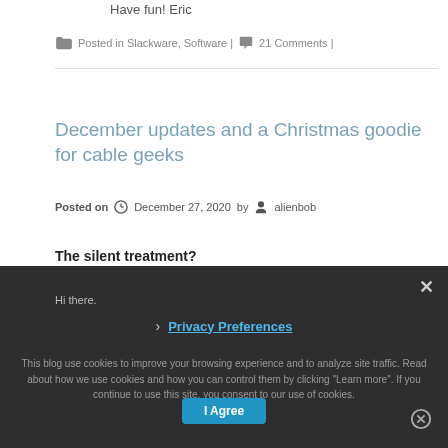Have fun!  Eric
Posted in Slackware, Software | 21 Comments |
December updates and a Christmas goodie for cable geeks
Posted on December 27, 2020 by alienbob
The silent treatment?
Hi there.
This blog use cookies to improve your browsing experience and to analyze site traffic. Read about how we use cookies and how you can control them by clicking "Learn more". If you continue to use this site, you consent to our use of cookies.
Privacy Preferences
I Agree